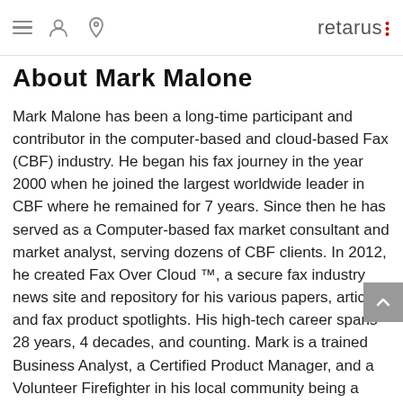retarus (logo with menu, user, and location icons)
About Mark Malone
Mark Malone has been a long-time participant and contributor in the computer-based and cloud-based Fax (CBF) industry. He began his fax journey in the year 2000 when he joined the largest worldwide leader in CBF where he remained for 7 years. Since then he has served as a Computer-based fax market consultant and market analyst, serving dozens of CBF clients. In 2012, he created Fax Over Cloud ™, a secure fax industry news site and repository for his various papers, articles, and fax product spotlights. His high-tech career spans 28 years, 4 decades, and counting. Mark is a trained Business Analyst, a Certified Product Manager, and a Volunteer Firefighter in his local community being a leader with distinction f...